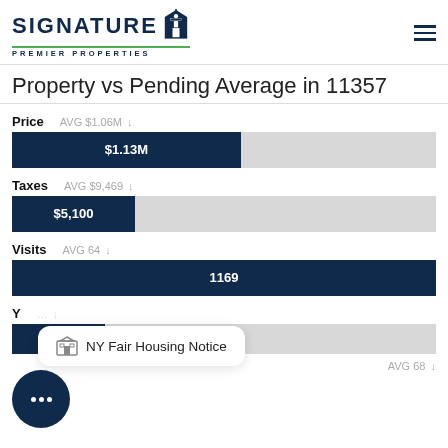[Figure (logo): Signature Premier Properties logo with lighthouse icon]
Property vs Pending Average in 11357
Price
AVG $1.06M
[Figure (bar-chart): Price]
Taxes
AVG $9,469
[Figure (bar-chart): Taxes]
Visits
AVG 64
[Figure (bar-chart): Visits]
NY Fair Housing Notice
AVG 68